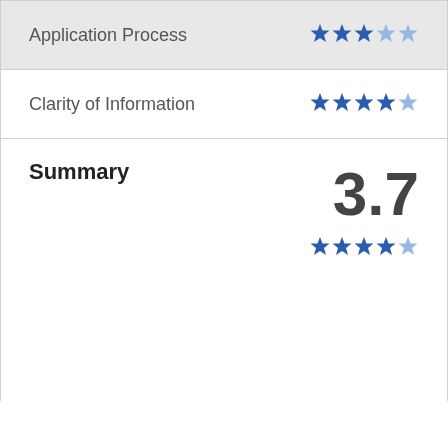Application Process — 3 out of 5 stars
Clarity of Information — 3.5 out of 5 stars
Summary
3.7
[Figure (other): 3.7 out of 5 stars rating shown as 4 filled blue stars and 1 partial/light star]